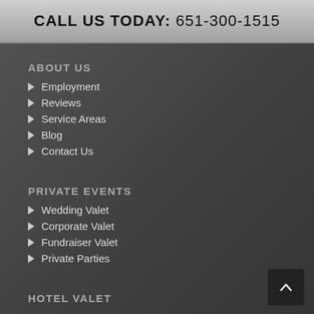CALL US TODAY: 651-300-1515
ABOUT US
Employment
Reviews
Service Areas
Blog
Contact Us
PRIVATE EVENTS
Wedding Valet
Corporate Valet
Fundraiser Valet
Private Parties
HOTEL VALET